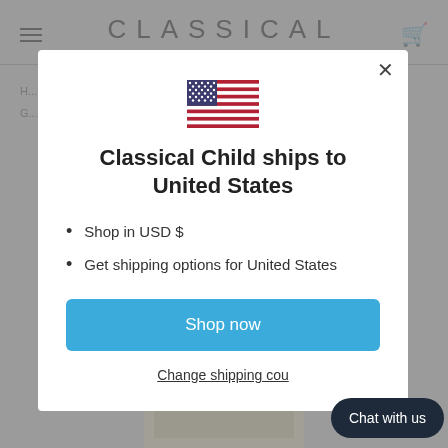[Figure (screenshot): Background website screenshot showing 'CLASSICAL' header text, hamburger menu, cart icon, navigation links, and product image below the modal]
[Figure (screenshot): Modal dialog with US flag, title text, bullet list, shop now button, and change shipping country link]
Classical Child ships to United States
Shop in USD $
Get shipping options for United States
Shop now
Change shipping cou...
Chat with us